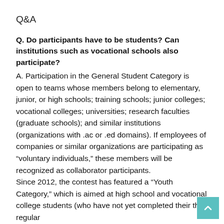Q&A
Q. Do participants have to be students? Can institutions such as vocational schools also participate?
A. Participation in the General Student Category is open to teams whose members belong to elementary, junior, or high schools; training schools; junior colleges; vocational colleges; universities; research faculties (graduate schools); and similar institutions (organizations with .ac or .ed domains). If employees of companies or similar organizations are participating as “voluntary individuals,” these members will be recognized as collaborator participants.
Since 2012, the contest has featured a “Youth Category,” which is aimed at high school and vocational college students (who have not yet completed their third regular